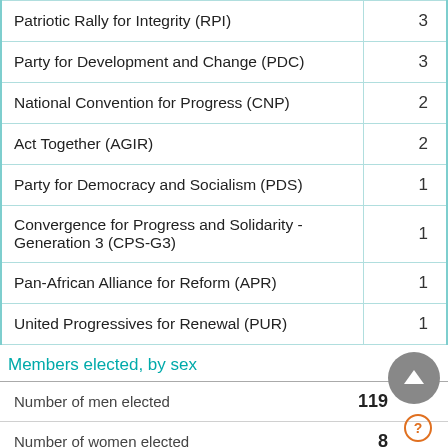| Party | Seats |
| --- | --- |
| Patriotic Rally for Integrity (RPI) | 3 |
| Party for Development and Change (PDC) | 3 |
| National Convention for Progress (CNP) | 2 |
| Act Together (AGIR) | 2 |
| Party for Democracy and Socialism (PDS) | 1 |
| Convergence for Progress and Solidarity - Generation 3 (CPS-G3) | 1 |
| Pan-African Alliance for Reform (APR) | 1 |
| United Progressives for Renewal (PUR) | 1 |
Members elected, by sex
| Category | Count |
| --- | --- |
| Number of men elected | 119 |
| Number of women elected | 8 |
| Percentage of women elected | ? |